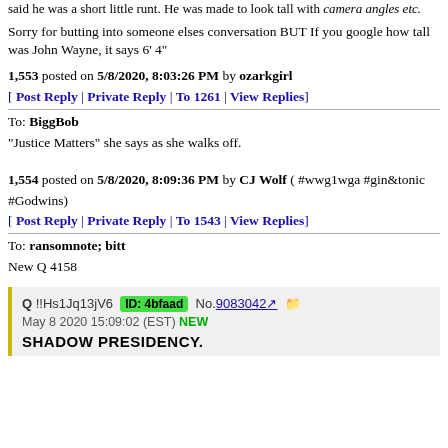said he was a short little runt. He was made to look tall with camera angles etc.
Sorry for butting into someone elses conversation BUT If you google how tall was John Wayne, it says 6' 4"
1,553 posted on 5/8/2020, 8:03:26 PM by ozarkgirl
[ Post Reply | Private Reply | To 1261 | View Replies]
To: BiggBob
“Justice Matters” she says as she walks off.
1,554 posted on 5/8/2020, 8:09:36 PM by CJ Wolf ( #wwg1wga #gin&tonic #Godwins)
[ Post Reply | Private Reply | To 1543 | View Replies]
To: ransomnote; bitt
New Q 4158
[Figure (screenshot): Forum post quote box showing: Q !!Hs1Jq13jV6 ID: 4bfaad No.9083042 May 8 2020 15:09:02 (EST) NEW — SHADOW PRESIDENCY.]